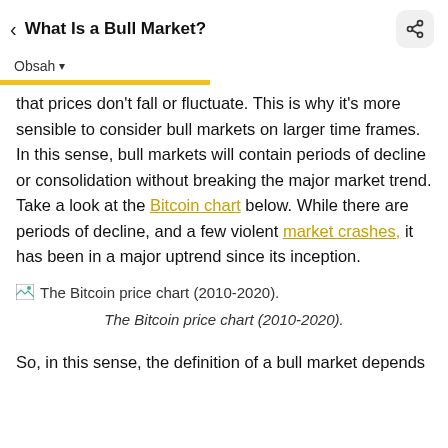What Is a Bull Market?
Obsah
that prices don't fall or fluctuate. This is why it's more sensible to consider bull markets on larger time frames. In this sense, bull markets will contain periods of decline or consolidation without breaking the major market trend. Take a look at the Bitcoin chart below. While there are periods of decline, and a few violent market crashes, it has been in a major uptrend since its inception.
[Figure (screenshot): Broken image placeholder icon followed by text: The Bitcoin price chart (2010-2020).]
The Bitcoin price chart (2010-2020).
So, in this sense, the definition of a bull market depends